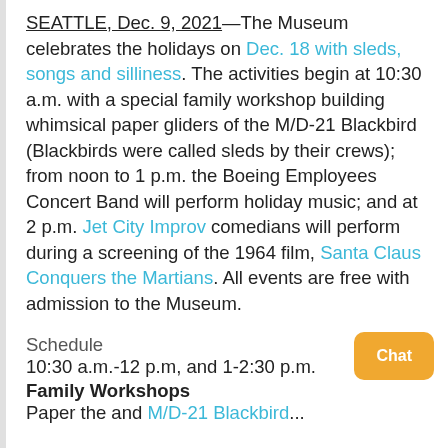SEATTLE, Dec. 9, 2021—The Museum celebrates the holidays on Dec. 18 with sleds, songs and silliness. The activities begin at 10:30 a.m. with a special family workshop building whimsical paper gliders of the M/D-21 Blackbird (Blackbirds were called sleds by their crews); from noon to 1 p.m. the Boeing Employees Concert Band will perform holiday music; and at 2 p.m. Jet City Improv comedians will perform during a screening of the 1964 film, Santa Claus Conquers the Martians. All events are free with admission to the Museum.
Schedule
10:30 a.m.-12 p.m, and 1-2:30 p.m.
Family Workshops
Paper the and M/D-21 Blackbird...